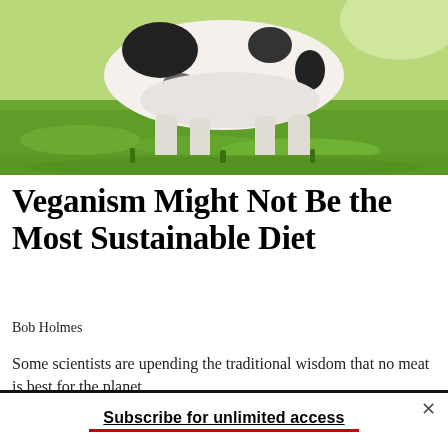[Figure (photo): A black and white cow grazing on green grass, photographed from side showing its body and legs against a bright green meadow background.]
Veganism Might Not Be the Most Sustainable Diet
Bob Holmes
Some scientists are upending the traditional wisdom that no meat is best for the planet.
Subscribe for unlimited access